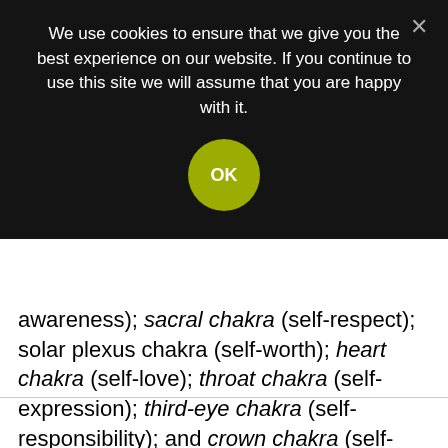[Figure (screenshot): Cookie consent banner overlay on dark background with OK button and close (×) button]
awareness); sacral chakra (self-respect); solar plexus chakra (self-worth); heart chakra (self-love); throat chakra (self-expression); third-eye chakra (self-responsibility); and crown chakra (self-consciousness).